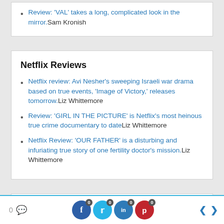Review: 'VAL' takes a long, complicated look in the mirror. Sam Kronish
Netflix Reviews
Netflix review: Avi Nesher's sweeping Israeli war drama based on true events, 'Image of Victory,' releases tomorrow. Liz Whittemore
Review: 'GIRL IN THE PICTURE' is Netflix's most heinous true crime documentary to date Liz Whittemore
Netflix Review: 'OUR FATHER' is a disturbing and infuriating true story of one fertility doctor's mission. Liz Whittemore
To Rent/Buy